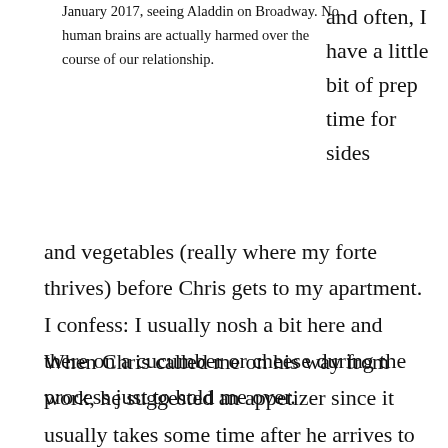January 2017, seeing Aladdin on Broadway. No human brains are actually harmed over the course of our relationship.
and often, I have a little bit of prep time for sides
and vegetables (really where my forte thrives) before Chris gets to my apartment. I confess: I usually nosh a bit here and there on a cucumber or cheese during the process just to hold me over.
When Chris called me on his way from work, he suggested an appetizer since it usually takes some time after he arrives to finally sit down to eat together and he was hungry. I was at a loss for a light, gluten free starter to have ready for him after his long day at the office (a lovely addition that I will always keep in mind for us to whet our palettes with in the future). Most of our meals at home together have included some sort of a salad that